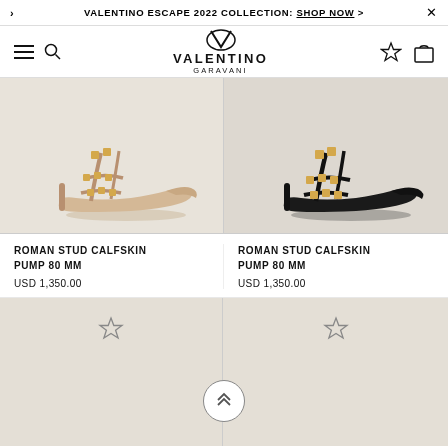VALENTINO ESCAPE 2022 COLLECTION: SHOP NOW >
[Figure (logo): Valentino Garavani logo with VG monogram icon, brand name and sub-label]
[Figure (photo): Beige/nude leather Roman Stud stiletto pump with gold pyramid studs on straps, side view on light beige background]
[Figure (photo): Black leather Roman Stud stiletto pump with gold pyramid studs on straps, side view on light beige background]
ROMAN STUD CALFSKIN PUMP 80 MM
USD 1,350.00
ROMAN STUD CALFSKIN PUMP 80 MM
USD 1,350.00
[Figure (other): Bottom loading area left cell with wishlist star icon, beige background]
[Figure (other): Bottom loading area right cell with wishlist star icon, beige background]
[Figure (other): Scroll to top circular button with double chevron up arrows]